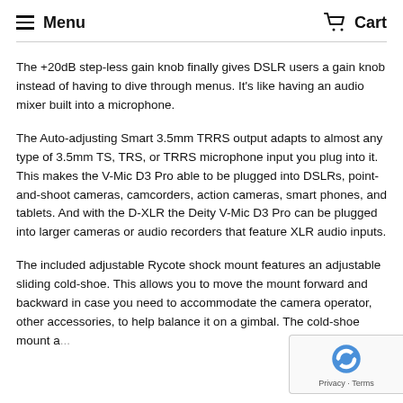Menu   Cart
The +20dB step-less gain knob finally gives DSLR users a gain knob instead of having to dive through menus. It's like having an audio mixer built into a microphone.
The Auto-adjusting Smart 3.5mm TRRS output adapts to almost any type of 3.5mm TS, TRS, or TRRS microphone input you plug into it. This makes the V-Mic D3 Pro able to be plugged into DSLRs, point-and-shoot cameras, camcorders, action cameras, smart phones, and tablets. And with the D-XLR the Deity V-Mic D3 Pro can be plugged into larger cameras or audio recorders that feature XLR audio inputs.
The included adjustable Rycote shock mount features an adjustable sliding cold-shoe. This allows you to move the mount forward and backward in case you need to accommodate the camera operator, other accessories, to help balance it on a gimbal. The cold-shoe mount a...